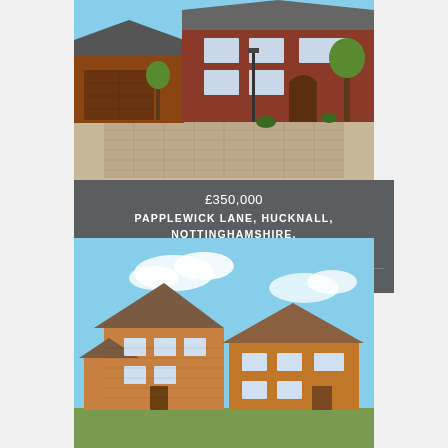[Figure (photo): Exterior photo of a red brick semi-detached house with large driveway, brown garage door, and lamp post. Papplewick Lane, Hucknall, Nottinghamshire, NG15 8EF, priced at £350,000.]
£350,000
PAPPLEWICK LANE, HUCKNALL, NOTTINGHAMSHIRE, NG15 8EF
♡ SHORTLIST    MORE DETAILS ›
[Figure (photo): Exterior photo of a tan/orange brick detached house with pitched roof and blue sky background.]